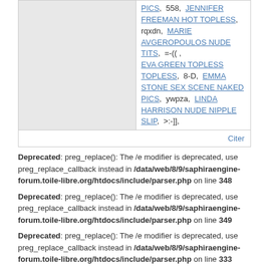PICS, 558, JENNIFER FREEMAN HOT TOPLESS, rqxdn, MARIE AVGEROPOULOS NUDE TITS, =-((, EVA GREEN TOPLESS TOPLESS, 8-D, EMMA STONE SEX SCENE NAKED PICS, ywpza, LINDA HARRISON NUDE NIPPLE SLIP, >:-]],
Citer
Deprecated: preg_replace(): The /e modifier is deprecated, use preg_replace_callback instead in /data/web/8/9/saphiraengine-forum.toile-libre.org/htdocs/include/parser.php on line 348
Deprecated: preg_replace(): The /e modifier is deprecated, use preg_replace_callback instead in /data/web/8/9/saphiraengine-forum.toile-libre.org/htdocs/include/parser.php on line 349
Deprecated: preg_replace(): The /e modifier is deprecated, use preg_replace_callback instead in /data/web/8/9/saphiraengine-forum.toile-libre.org/htdocs/include/parser.php on line 333
Deprecated: preg_replace(): The /e modifier is deprecated, use preg_replace_callback instead in /data/web/8/9/saphiraengine-forum.toile-libre.org/htdocs/include/parser.php on line 333
Deprecated: preg_replace(): The /e modifier is deprecated, use preg_replace_callback instead in /data/web/8/9/saphiraengine-forum.toile-libre.org/htdocs/include/parser.php on line 406
23-05-2012 15:43:43   #8
Autumn_Alaska
Invité
Is there a way use some sort of third party forum moderation to cut through